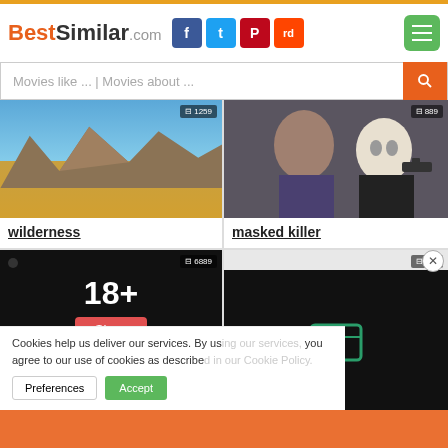BestSimilar.com
Movies like ... | Movies about ...
[Figure (photo): Wilderness landscape with mountains and golden plains under blue sky]
wilderness
[Figure (photo): Young man with masked killer holding a gun behind him]
masked killer
[Figure (photo): 18+ content placeholder with Show button on dark background]
sex scene
[Figure (photo): White camper van / motorhome on light background, count badge 189]
Cookies help us deliver our services. By using our services, you agree to our use of cookies as described in our Cookie Policy.